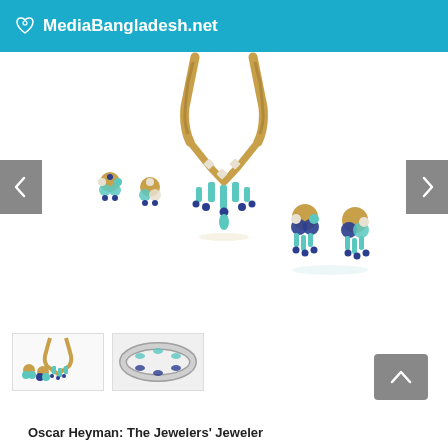MediaBangladesh.net
[Figure (photo): Jewelry set including a gold necklace with teal/blue gemstone pendant, two pairs of earrings with teal, diamond, and sapphire stones on white background. Carousel display with left/right navigation arrows.]
[Figure (photo): Thumbnail 1: Small image of necklace and earrings set]
[Figure (photo): Thumbnail 2: Close-up of a decorative bracelet with teal and sapphire stones]
Oscar Heyman: The Jewelers' Jeweler